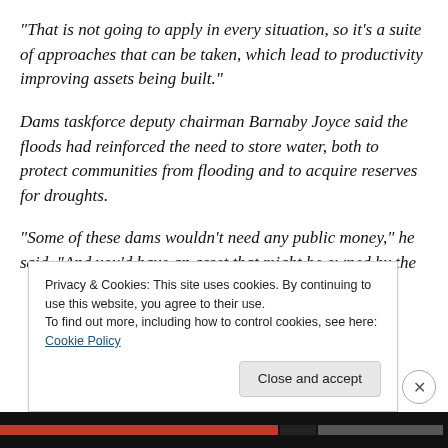"That is not going to apply in every situation, so it's a suite of approaches that can be taken, which lead to productivity improving assets being built."
Dams taskforce deputy chairman Barnaby Joyce said the floods had reinforced the need to store water, both to protect communities from flooding and to acquire reserves for droughts.
"Some of these dams wouldn't need any public money," he said. "And you'd have an asset that might be owned by the
Privacy & Cookies: This site uses cookies. By continuing to use this website, you agree to their use.
To find out more, including how to control cookies, see here: Cookie Policy
Close and accept